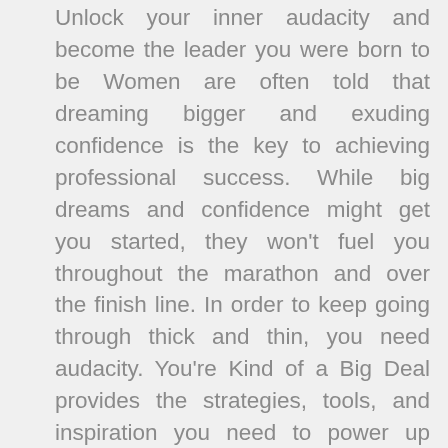Unlock your inner audacity and become the leader you were born to be Women are often told that dreaming bigger and exuding confidence is the key to achieving professional success. While big dreams and confidence might get you started, they won't fuel you throughout the marathon and over the finish line. In order to keep going through thick and thin, you need audacity. You're Kind of a Big Deal provides the strategies, tools, and inspiration you need to power up your potential, break free from limiting beliefs, and make your biggest dreams a reality. International keynote speaker and successful entrepreneur Erin King helps you step into the role of CEO of your own life and better execute your responses to challenging feedback from the world around you, so you can: Move through any and all obstacles between you and your goals Be more present, honest, and authentic in your professional and